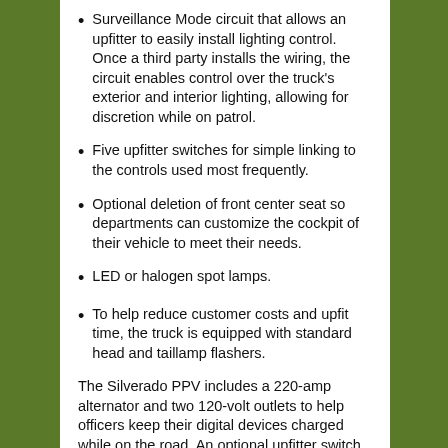Surveillance Mode circuit that allows an upfitter to easily install lighting control. Once a third party installs the wiring, the circuit enables control over the truck's exterior and interior lighting, allowing for discretion while on patrol.
Five upfitter switches for simple linking to the controls used most frequently.
Optional deletion of front center seat so departments can customize the cockpit of their vehicle to meet their needs.
LED or halogen spot lamps.
To help reduce customer costs and upfit time, the truck is equipped with standard head and taillamp flashers.
The Silverado PPV includes a 220-amp alternator and two 120-volt outlets to help officers keep their digital devices charged while on the road. An optional upfitter switch bank is